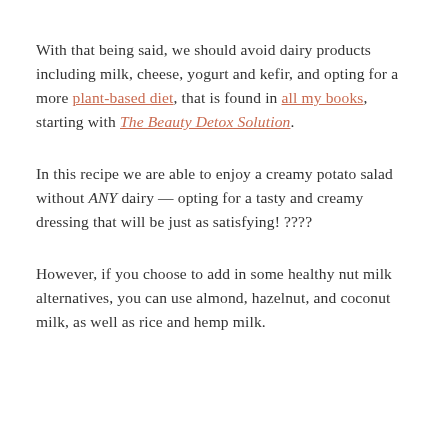With that being said, we should avoid dairy products including milk, cheese, yogurt and kefir, and opting for a more plant-based diet, that is found in all my books, starting with The Beauty Detox Solution.
In this recipe we are able to enjoy a creamy potato salad without ANY dairy — opting for a tasty and creamy dressing that will be just as satisfying! ????
However, if you choose to add in some healthy nut milk alternatives, you can use almond, hazelnut, and coconut milk, as well as rice and hemp milk.